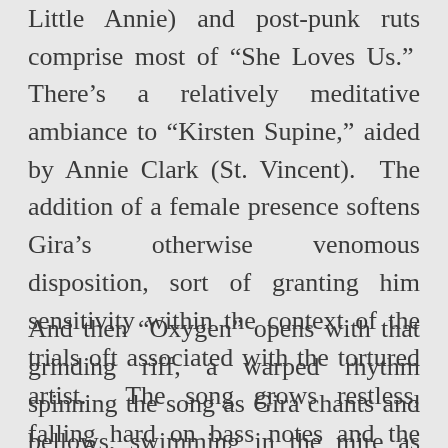Little Annie) and post-punk ruts comprise most of "She Loves Us." There's a relatively meditative ambiance to "Kirsten Supine," aided by Annie Clark (St. Vincent). The addition of a female presence softens Gira's otherwise venomous disposition, sort of granting him sensitivity within the context of the trials oft associated with the tortured artist. The song grows restless, falling hard on bass notes and the clangor of bells and cymbals. No opportunity to writhe and spit is lost.
And then "Oxygen" opens with that grinding riff, a warped rhythm spinning the song as Gira chants and bellows, swimming in the mire as trumpets fire and free form sonics swallow the